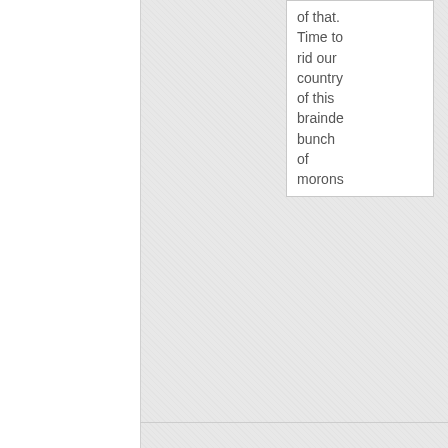of that. Time to rid our country of this brainded bunch of morons
charles johnston
March 10, 2016 at 9:25 pm
Your gut must be huge from drinking all that kool aide, then you top it off backing a serial liar who began her career getting booted off the Watergate investigation for lying and witness tampering, helping Obama piss away a stable Iraq and get 4 Americans killed running